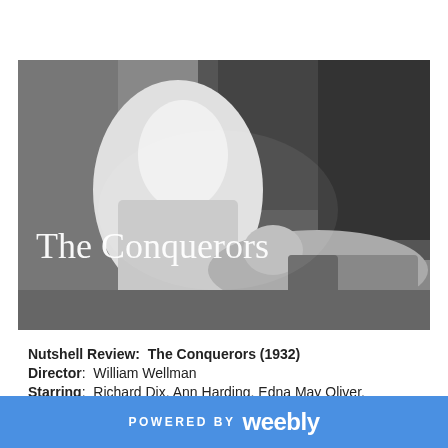[Figure (photo): Black and white film still showing two people, one in a white shirt with back to camera, another lying down, with trees in background. Text overlay reads 'The Conquerors'.]
Nutshell Review: The Conquerors (1932)
Director: William Wellman
Starring: Richard Dix, Ann Harding, Edna May Oliver, Guy Kibbee, Julie Haydon
Studio: Warner Bros
POWERED BY weebly